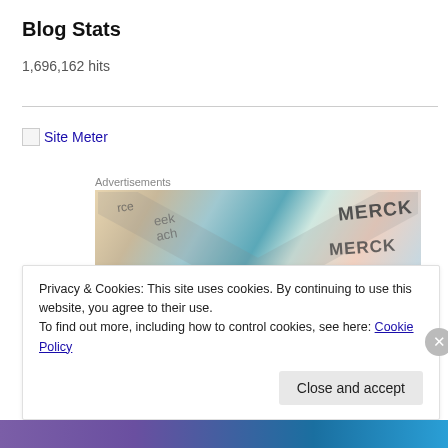Blog Stats
1,696,162 hits
[Figure (screenshot): Site Meter logo/link with broken image placeholder]
[Figure (photo): Advertisements banner showing Merck branded materials with overlapping cards and an X overlay pattern]
Privacy & Cookies: This site uses cookies. By continuing to use this website, you agree to their use.
To find out more, including how to control cookies, see here: Cookie Policy
Close and accept